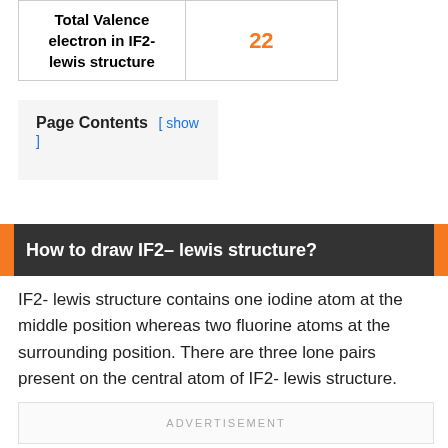|  |  |
| --- | --- |
| Total Valence electron in IF2- lewis structure | 22 |
Page Contents [ show ]
How to draw IF2- lewis structure?
IF2- lewis structure contains one iodine atom at the middle position whereas two fluorine atoms at the surrounding position. There are three lone pairs present on the central atom of IF2- lewis structure.
ADVERTISEMENT